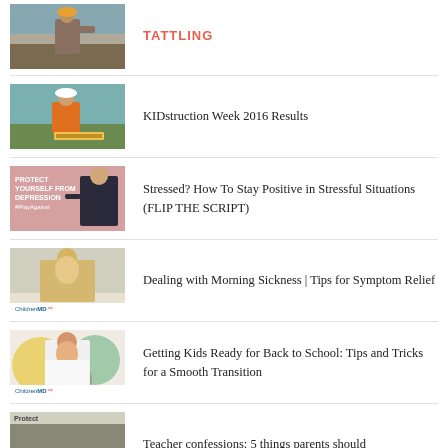TATTLING (partial, top of page)
KIDstruction Week 2016 Results
Stressed? How To Stay Positive in Stressful Situations (FLIP THE SCRIPT)
Dealing with Morning Sickness | Tips for Symptom Relief
Getting Kids Ready for Back to School: Tips and Tricks for a Smooth Transition
Teacher confessions: 5 things parents should... (partial)